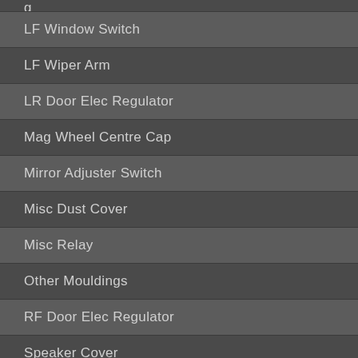LF Window Switch
LF Wiper Arm
LR Door Elec Regulator
Mag Wheel Centre Cap
Mirror Adjuster Switch
Misc Dust Cover
Misc Relay
Other Mouldings
RF Door Elec Regulator
Speaker Cover
Speakers